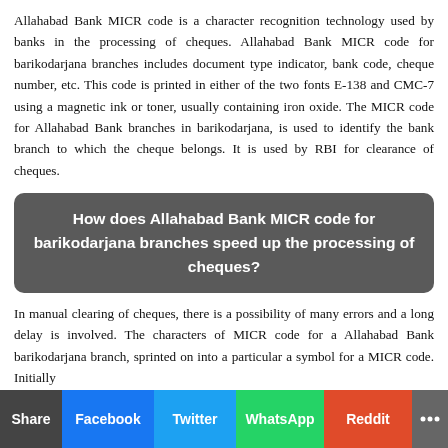Allahabad Bank MICR code is a character recognition technology used by banks in the processing of cheques. Allahabad Bank MICR code for barikodarjana branches includes document type indicator, bank code, cheque number, etc. This code is printed in either of the two fonts E-138 and CMC-7 using a magnetic ink or toner, usually containing iron oxide. The MICR code for Allahabad Bank branches in barikodarjana, is used to identify the bank branch to which the cheque belongs. It is used by RBI for clearance of cheques.
How does Allahabad Bank MICR code for barikodarjana branches speed up the processing of cheques?
In manual clearing of cheques, there is a possibility of many errors and a long delay is involved. The characters of MICR code for a Allahabad Bank barikodarjana branch, sprinted on...
Share | Facebook | Twitter | WhatsApp | Reddit